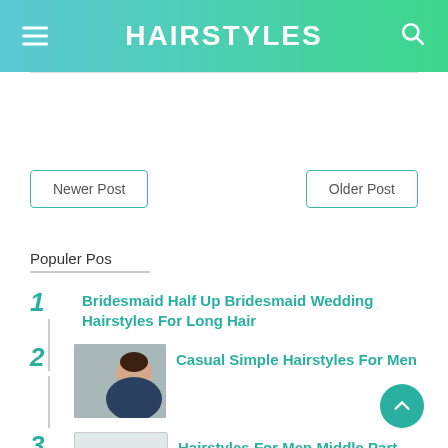HAIRSTYLES
Newer Post
Older Post
Populer Pos
1 Bridesmaid Half Up Bridesmaid Wedding Hairstyles For Long Hair
2 Casual Simple Hairstyles For Men
3 Hairstyles For Men Middle Part